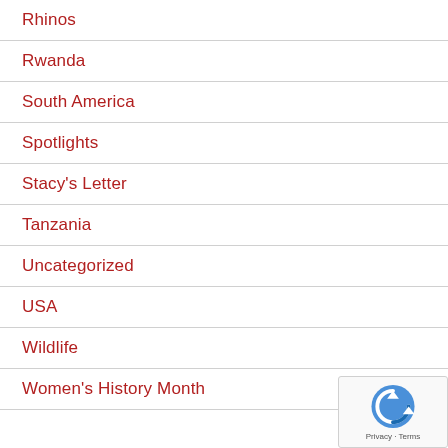Rhinos
Rwanda
South America
Spotlights
Stacy's Letter
Tanzania
Uncategorized
USA
Wildlife
Women's History Month